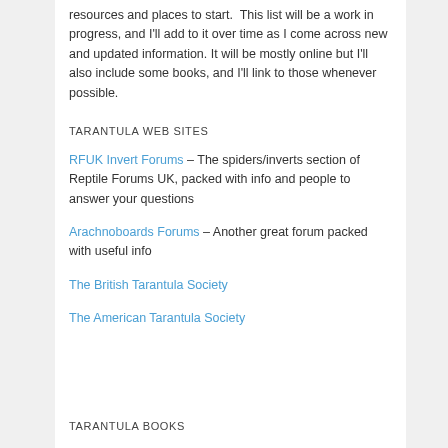resources and places to start. This list will be a work in progress, and I'll add to it over time as I come across new and updated information. It will be mostly online but I'll also include some books, and I'll link to those whenever possible.
TARANTULA WEB SITES
RFUK Invert Forums – The spiders/inverts section of Reptile Forums UK, packed with info and people to answer your questions
Arachnoboards Forums – Another great forum packed with useful info
The British Tarantula Society
The American Tarantula Society
TARANTULA BOOKS